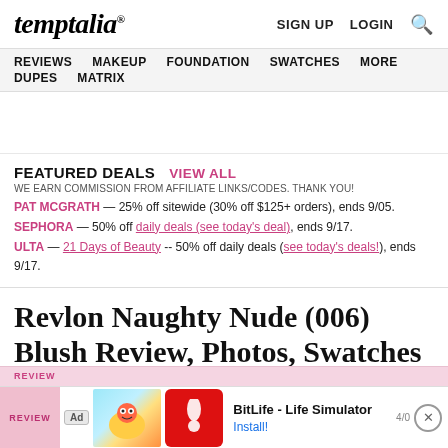temptalia® SIGN UP LOGIN 🔍
REVIEWS MAKEUP FOUNDATION SWATCHES MORE DUPES MATRIX
FEATURED DEALS VIEW ALL
WE EARN COMMISSION FROM AFFILIATE LINKS/CODES. THANK YOU!
PAT MCGRATH — 25% off sitewide (30% off $125+ orders), ends 9/05.
SEPHORA — 50% off daily deals (see today's deal), ends 9/17.
ULTA — 21 Days of Beauty -- 50% off daily deals (see today's deals!), ends 9/17.
Revlon Naughty Nude (006) Blush Review, Photos, Swatches
[Figure (screenshot): Mobile advertisement bar at bottom of page showing BitLife - Life Simulator ad with Install button and close button, partially overlapping a pink review strip]